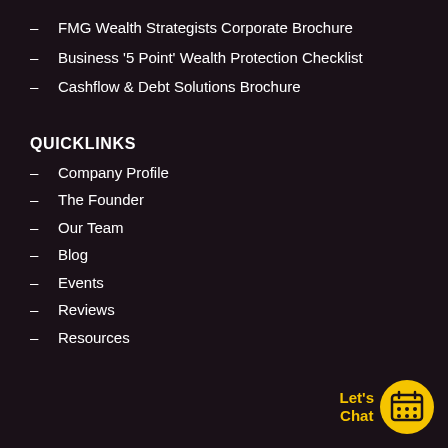FMG Wealth Strategists Corporate Brochure
Business '5 Point' Wealth Protection Checklist
Cashflow & Debt Solutions Brochure
QUICKLINKS
Company Profile
The Founder
Our Team
Blog
Events
Reviews
Resources
[Figure (illustration): Yellow circular button with calendar icon and 'Let's Chat' text in yellow]